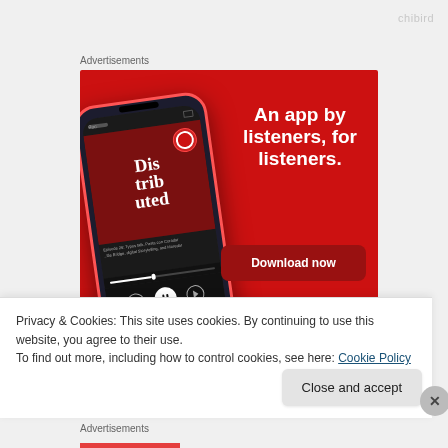chibird
Advertisements
[Figure (photo): Pocket Casts advertisement banner on red background showing a smartphone with podcast app, text reading 'An app by listeners, for listeners.' and a 'Download now' button with Pocket Casts logo]
Privacy & Cookies: This site uses cookies. By continuing to use this website, you agree to their use.
To find out more, including how to control cookies, see here: Cookie Policy
Close and accept
Advertisements